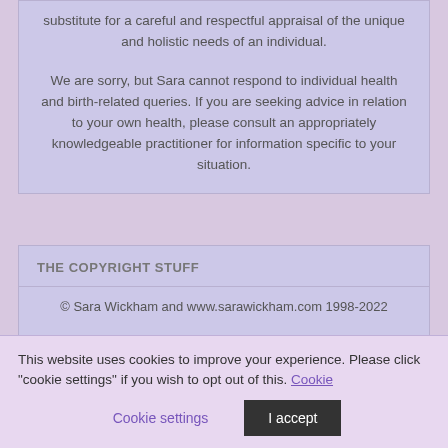substitute for a careful and respectful appraisal of the unique and holistic needs of an individual. We are sorry, but Sara cannot respond to individual health and birth-related queries. If you are seeking advice in relation to your own health, please consult an appropriately knowledgeable practitioner for information specific to your situation.
THE COPYRIGHT STUFF
© Sara Wickham and www.sarawickham.com 1998-2022
Unauthorised use and/or duplication of this material
This website uses cookies to improve your experience. Please click "cookie settings" if you wish to opt out of this. Cookie settings   I accept